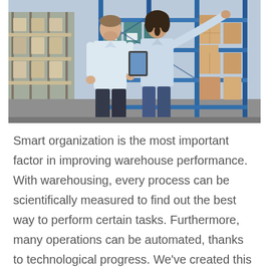[Figure (photo): Two workers in a warehouse setting — a man and a woman — standing in front of blue metal shelving units stacked with boxes and goods. The woman is holding a tablet and pointing toward a shelf. The warehouse background shows multiple rows of shelving with cardboard boxes and pallets.]
Smart organization is the most important factor in improving warehouse performance. With warehousing, every process can be scientifically measured to find out the best way to perform certain tasks. Furthermore, many operations can be automated, thanks to technological progress. We've created this